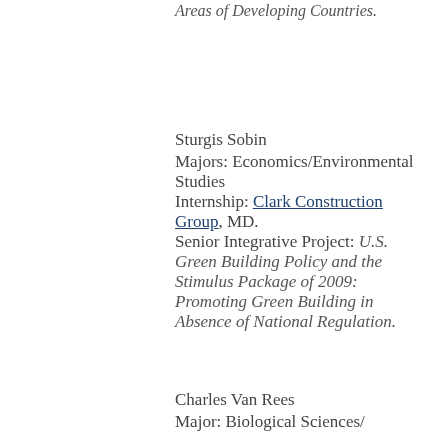Areas of Developing Countries.
Sturgis Sobin
Majors: Economics/Environmental Studies
Internship: Clark Construction Group, MD.
Senior Integrative Project: U.S. Green Building Policy and the Stimulus Package of 2009: Promoting Green Building in Absence of National Regulation.
Charles Van Rees
Major: Biological Sciences/